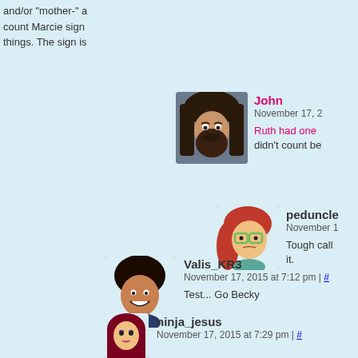and/or "mother-" ... count Marcie sign things. The sign is
John
November 17, 2...
Ruth had one ... didn't count be
peduncle...
November 1...
Tough call... it.
Valis_KR3
November 17, 2015 at 7:12 pm | #
Test... Go Becky
ninja_jesus
November 17, 2015 at 7:29 pm | #